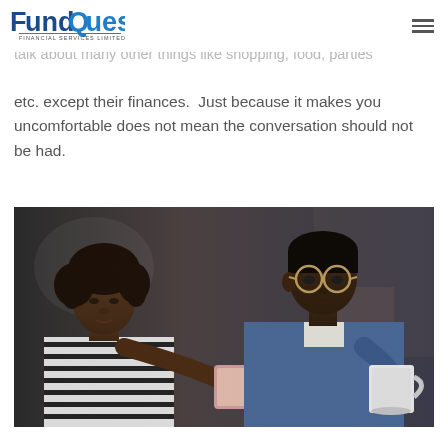FundQuest Financial Services Limited
find it difficult to be honest about each other's financial... finds towards money. They will rather talk about many other things like shopping, food, parties etc. except their finances. Just because it makes you uncomfortable does not mean the conversation should not be had.
[Figure (photo): A young woman with curly hair in a striped shirt and a man with glasses in a denim shirt looking at a tablet together, with a coffee mug in the man's hand.]